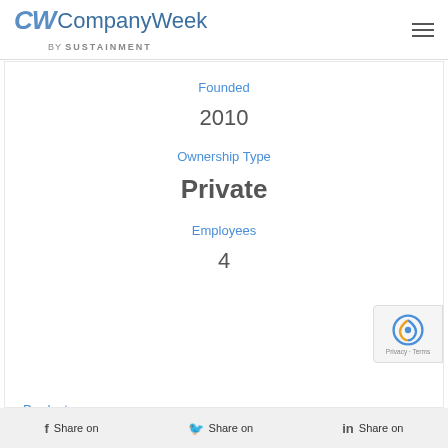CompanyWeek by Sustainment
Founded
2010
Ownership Type
Private
Employees
4
Products
Backpacking meals
Share on  Share on  Share on